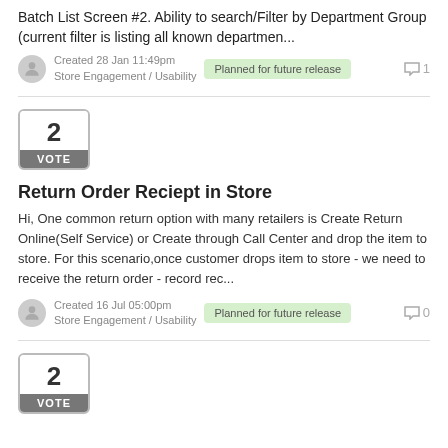Batch List Screen #2. Ability to search/Filter by Department Group (current filter is listing all known departmen...
Created 28 Jan 11:49pm
Store Engagement / Usability
Planned for future release
1
[Figure (other): Vote widget showing number 2 with VOTE label]
Return Order Reciept in Store
Hi, One common return option with many retailers is Create Return Online(Self Service) or Create through Call Center and drop the item to store. For this scenario,once customer drops item to store - we need to receive the return order - record rec...
Created 16 Jul 05:00pm
Store Engagement / Usability
Planned for future release
0
[Figure (other): Vote widget showing number 2 with VOTE label]